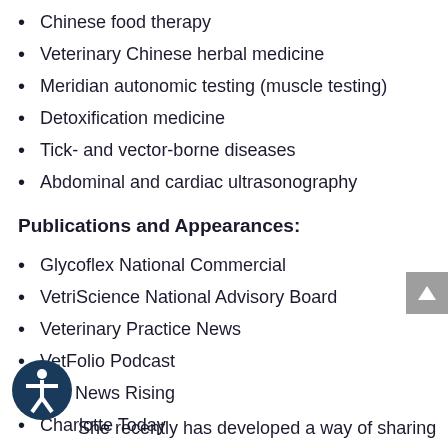Chinese food therapy
Veterinary Chinese herbal medicine
Meridian autonomic testing (muscle testing)
Detoxification medicine
Tick- and vector-borne diseases
Abdominal and cardiac ultrasonography
Publications and Appearances:
Glycoflex National Commercial
VetriScience National Advisory Board
Veterinary Practice News
VetFolio Podcast
Fox News Rising
Charlotte Today
She recently has developed a way of sharing